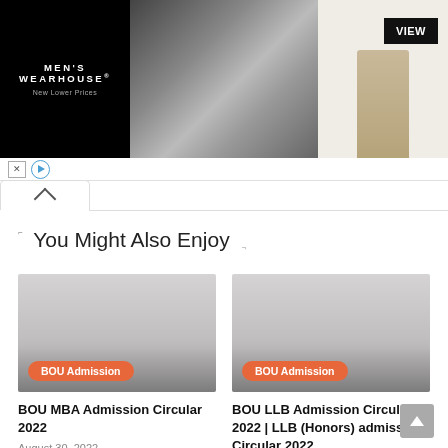[Figure (screenshot): Men's Wearhouse advertisement banner with couple in formal wear and man in beige suit with VIEW button]
You Might Also Enjoy
[Figure (photo): BOU MBA Admission article thumbnail with BOU Admission badge]
BOU MBA Admission Circular 2022
August 30, 2022
[Figure (photo): BOU LLB Admission article thumbnail with BOU Admission badge]
BOU LLB Admission Circular 2022 | LLB (Honors) admission Circular 2022
August 26, 2022